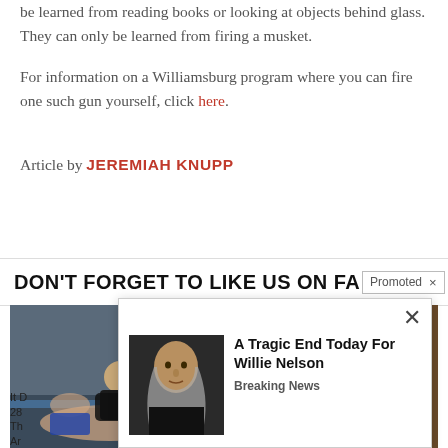be learned from reading books or looking at objects behind glass. They can only be learned from firing a musket.
For information on a Williamsburg program where you can fire one such gun yourself, click here.
Article by JEREMIAH KNUPP
DON'T FORGET TO LIKE US ON FA [Promoted X] D
[Figure (photo): Two images side by side: left shows a martial arts grappling scene with a bald instructor and student on a mat; right shows several medicine/prescription bottles lined up]
It D ... 28 ... Th ... Ar ...
[Figure (infographic): Popup advertisement overlay showing a photo of Willie Nelson with text 'A Tragic End Today For Willie Nelson' and subtitle 'Breaking News']